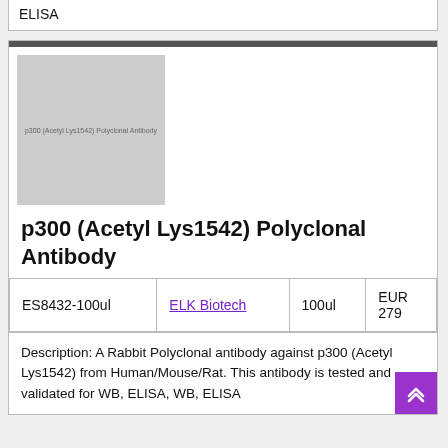ELISA
[Figure (photo): Product image placeholder for p300 (Acetyl Lys1542) Polyclonal Antibody with label text overlay]
p300 (Acetyl Lys1542) Polyclonal Antibody
|  |  |  |  |
| --- | --- | --- | --- |
| ES8432-100ul | ELK Biotech | 100ul | EUR 279 |
Description: A Rabbit Polyclonal antibody against p300 (Acetyl Lys1542) from Human/Mouse/Rat. This antibody is tested and validated for WB, ELISA, WB, ELISA